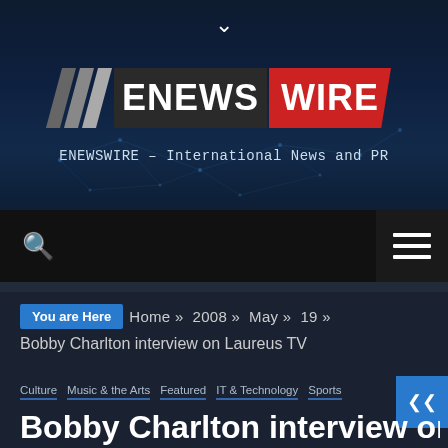[Figure (logo): ENewsWire logo with diagonal slashes and red WIRE background on dark header with network/tech dots decoration]
ENEWSWIRE – International News and PR
[Figure (screenshot): Navigation bar with search icon (magnifying glass) on left and hamburger menu button on right]
You are Here  Home » 2008 » May » 19 »
Bobby Charlton interview on Laureus TV
Culture  Music & the Arts  Featured  IT & Technology  Sports
Bobby Charlton interview on